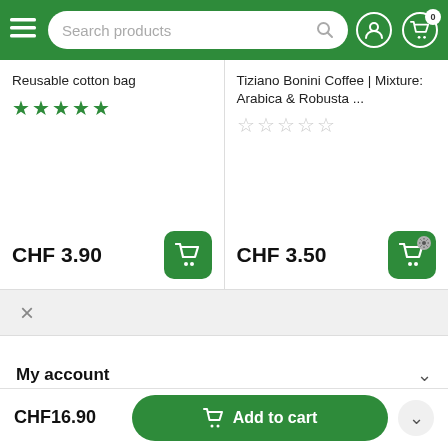[Figure (screenshot): Green navigation header with hamburger menu, search bar reading 'Search products', user account icon, and shopping cart icon with badge showing 0]
Reusable cotton bag
★★★★★
CHF 3.90
Tiziano Bonini Coffee | Mixture: Arabica & Robusta ...
☆☆☆☆☆
CHF 3.50
×
My account
CHF16.90
Add to cart
Menu  Search  Cart  Wish list  Compare  Account